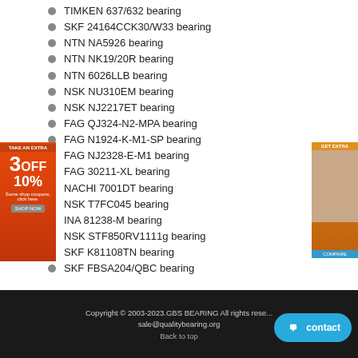TIMKEN 637/632 bearing
SKF 24164CCK30/W33 bearing
NTN NA5926 bearing
NTN NK19/20R bearing
NTN 6026LLB bearing
NSK NU310EM bearing
NSK NJ2217ET bearing
FAG QJ324-N2-MPA bearing
FAG N1924-K-M1-SP bearing
FAG NJ2328-E-M1 bearing
FAG 30211-XL bearing
NACHI 7001DT bearing
NSK T7FC045 bearing
INA 81238-M bearing
NSK STF850RV1111g bearing
SKF K81108TN bearing
SKF FBSA204/QBC bearing
Copyright © 2003-2023.GBS BEARING All rights reserved. sale@qualitybearing.org Back to top